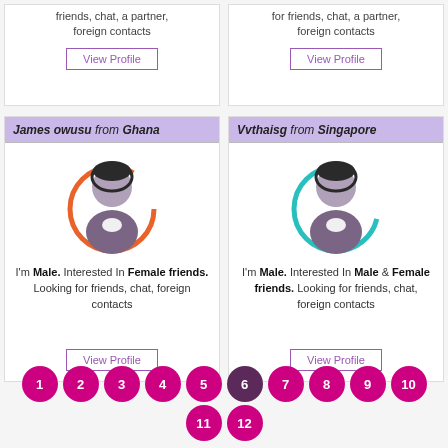friends, chat, a partner, foreign contacts
for friends, chat, a partner, foreign contacts
James owusu from Ghana
[Figure (illustration): Male avatar with orange circular arc, representing James owusu from Ghana]
I'm Male. Interested In Female friends. Looking for friends, chat, foreign contacts
Vvthaisg from Singapore
[Figure (illustration): Male avatar with teal/green circular arc, representing Vvthaisg from Singapore]
I'm Male. Interested In Male & Female friends. Looking for friends, chat, foreign contacts
1
2
3
4
5
6
7
8
9
10
11
12